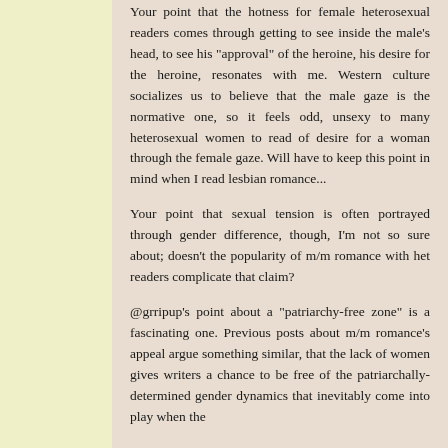Your point that the hotness for female heterosexual readers comes through getting to see inside the male's head, to see his "approval" of the heroine, his desire for the heroine, resonates with me. Western culture socializes us to believe that the male gaze is the normative one, so it feels odd, unsexy to many heterosexual women to read of desire for a woman through the female gaze. Will have to keep this point in mind when I read lesbian romance...
Your point that sexual tension is often portrayed through gender difference, though, I'm not so sure about; doesn't the popularity of m/m romance with het readers complicate that claim?
@grripup's point about a "patriarchy-free zone" is a fascinating one. Previous posts about m/m romance's appeal argue something similar, that the lack of women gives writers a chance to be free of the patriarchally-determined gender dynamics that inevitably come into play when the